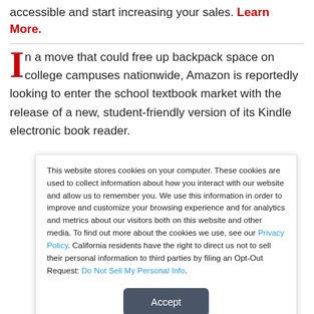accessible and start increasing your sales. Learn More.
In a move that could free up backpack space on college campuses nationwide, Amazon is reportedly looking to enter the school textbook market with the release of a new, student-friendly version of its Kindle electronic book reader.
This website stores cookies on your computer. These cookies are used to collect information about how you interact with our website and allow us to remember you. We use this information in order to improve and customize your browsing experience and for analytics and metrics about our visitors both on this website and other media. To find out more about the cookies we use, see our Privacy Policy. California residents have the right to direct us not to sell their personal information to third parties by filing an Opt-Out Request: Do Not Sell My Personal Info.